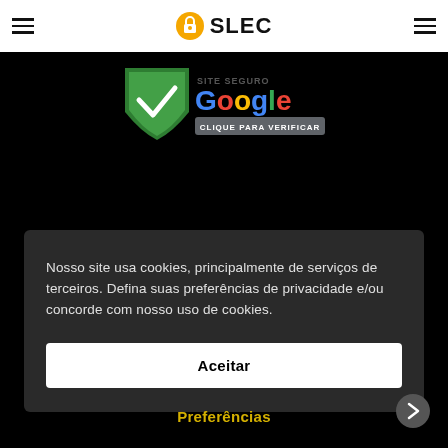SLEC
[Figure (logo): Google Site Seguro badge with green shield and checkmark, 'Google' text in multicolor, 'SITE SEGURO' and 'CLIQUE PARA VERIFICAR' labels]
Nosso site usa cookies, principalmente de serviços de terceiros. Defina suas preferências de privacidade e/ou concorde com nosso uso de cookies.
Aceitar
Preferências